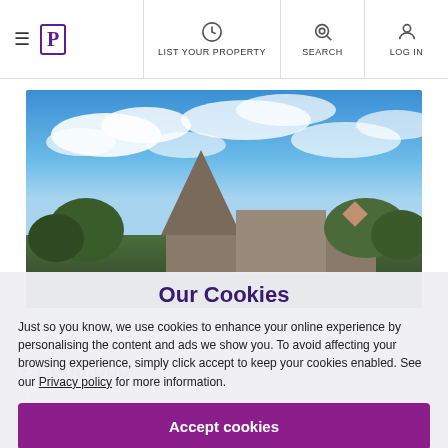≡ [P] | LIST YOUR PROPERTY | SEARCH | LOG IN
[Figure (photo): Exterior photo of a property with a conical-roofed barn/oast house structure surrounded by trees against a bright blue sky with white clouds]
Our Cookies
Just so you know, we use cookies to enhance your online experience by personalising the content and ads we show you. To avoid affecting your browsing experience, simply click accept to keep your cookies enabled. See our Privacy policy for more information.
Accept cookies
Manage my settings